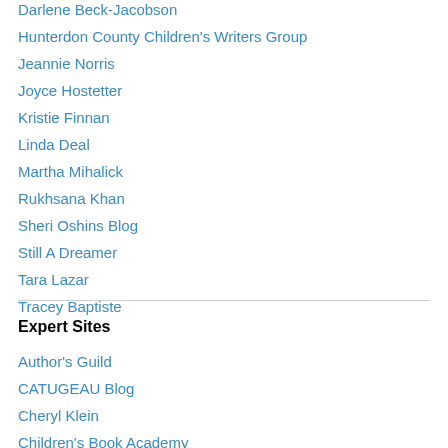Darlene Beck-Jacobson
Hunterdon County Children's Writers Group
Jeannie Norris
Joyce Hostetter
Kristie Finnan
Linda Deal
Martha Mihalick
Rukhsana Khan
Sheri Oshins Blog
Still A Dreamer
Tara Lazar
Tracey Baptiste
Expert Sites
Author's Guild
CATUGEAU Blog
Cheryl Klein
Children's Book Academy